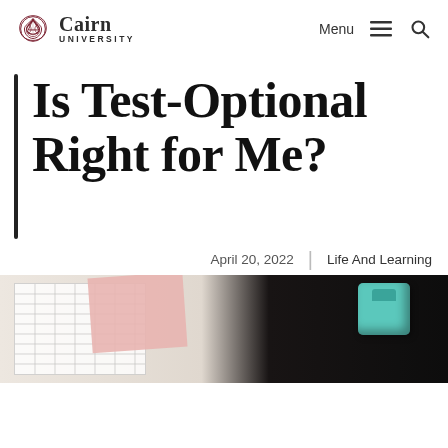Cairn University  Menu  Search
Is Test-Optional Right for Me?
April 20, 2022  |  Life And Learning
[Figure (photo): Photo showing a test paper with grid lines, a pink paper/folder, and a teal/mint colored object on a dark background]